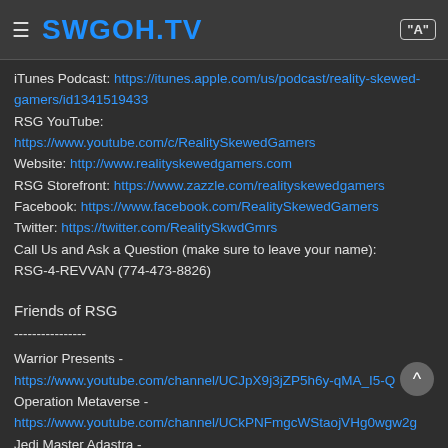SWGOH.TV
iTunes Podcast: https://itunes.apple.com/us/podcast/reality-skewed-gamers/id1341519433
RSG YouTube:
https://www.youtube.com/c/RealitySkewedGamers
Website: http://www.realityskewedgamers.com
RSG Storefront: https://www.zazzle.com/realityskewedgamers
Facebook: https://www.facebook.com/RealitySkewedGamers
Twitter: https://twitter.com/RealitySkwdGmrs
Call Us and Ask a Question (make sure to leave your name):
RSG-4-REVVAN (774-473-8826)
Friends of RSG
----------------
Warrior Presents -
https://www.youtube.com/channel/UCJpX9j3jZP5h6y-qMA_I5-Q
Operation Metaverse -
https://www.youtube.com/channel/UCkPNFmgcWStaojVHg0wgw2g
Jedi Master Adastra -
https://www.youtube.com/channel/UCOncKLPoIcrncChJuNCRmdw